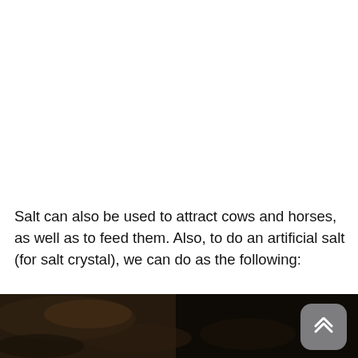Salt can also be used to attract cows and horses, as well as to feed them. Also, to do an artificial salt (for salt crystal), we can do as the following:
[Figure (photo): Dark photograph showing what appears to be an animal (cow or horse) hide/fur texture in very low light conditions, with a rounded-rectangle scroll-to-top button overlay in the bottom right corner.]